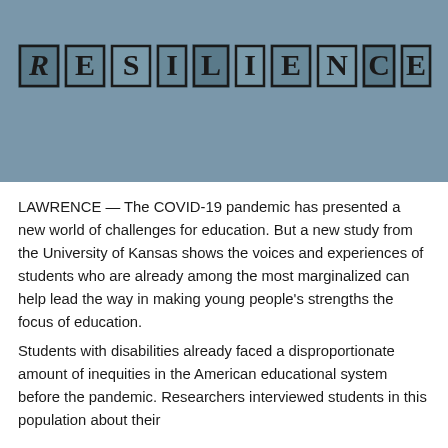[Figure (photo): A photograph of the word RESILIENCE spelled out in individual letterpress/rubber stamp style block letters on a grayish-blue background. Each letter is in a separate bordered square tile, printed in dark ink.]
LAWRENCE — The COVID-19 pandemic has presented a new world of challenges for education. But a new study from the University of Kansas shows the voices and experiences of students who are already among the most marginalized can help lead the way in making young people's strengths the focus of education.
Students with disabilities already faced a disproportionate amount of inequities in the American educational system before the pandemic. Researchers interviewed students in this population about their